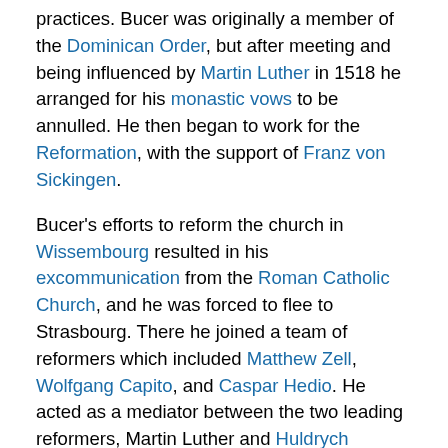practices. Bucer was originally a member of the Dominican Order, but after meeting and being influenced by Martin Luther in 1518 he arranged for his monastic vows to be annulled. He then began to work for the Reformation, with the support of Franz von Sickingen.
Bucer's efforts to reform the church in Wissembourg resulted in his excommunication from the Roman Catholic Church, and he was forced to flee to Strasbourg. There he joined a team of reformers which included Matthew Zell, Wolfgang Capito, and Caspar Hedio. He acted as a mediator between the two leading reformers, Martin Luther and Huldrych Zwingli, who differed on the doctrine of the eucharist. Later, Bucer sought agreement on common articles of faith such as the Tetrapolitan Confession and the Wittenberg Concord, working closely with Philipp Melanchthon on the latter.